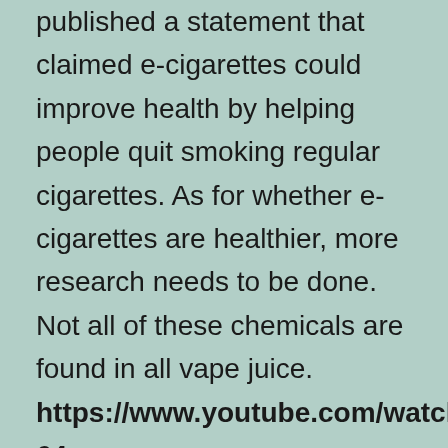published a statement that claimed e-cigarettes could improve health by helping people quit smoking regular cigarettes. As for whether e-cigarettes are healthier, more research needs to be done. Not all of these chemicals are found in all vape juice. https://www.youtube.com/watch?v=hvd6Csha-64

Medical cannabis is no different from other sources of cannabis and has the same effects on your baby. If you are using cannabis for medical reasons, talk to your health care provider about your options. We CBD Öl